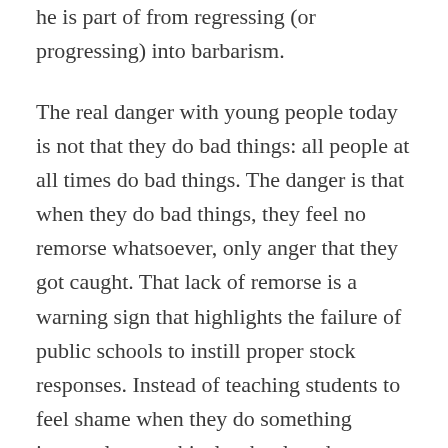he is part of from regressing (or progressing) into barbarism.
The real danger with young people today is not that they do bad things: all people at all times do bad things. The danger is that when they do bad things, they feel no remorse whatsoever, only anger that they got caught. That lack of remorse is a warning sign that highlights the failure of public schools to instill proper stock responses. Instead of teaching students to feel shame when they do something immoral or unethical, schools today “protect” them from feelings of self-disgust, lest their self-esteem be damaged. This